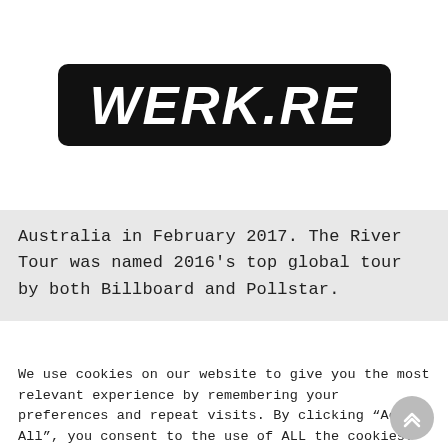[Figure (logo): WERK.RE logo in white bold italic text on black rounded rectangle background]
Australia in February 2017. The River Tour was named 2016’s top global tour by both Billboard and Pollstar.
We use cookies on our website to give you the most relevant experience by remembering your preferences and repeat visits. By clicking “Accept All”, you consent to the use of ALL the cookies. However, you may visit “Cookie Settings” to provide a controlled consent.
Cookie Settings | Accept All